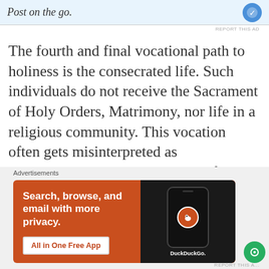[Figure (screenshot): Top advertisement banner with light blue background showing partial text 'Post on the go.' with a blue circular icon on the right]
The fourth and final vocational path to holiness is the consecrated life. Such individuals do not receive the Sacrament of Holy Orders, Matrimony, nor life in a religious community. This vocation often gets misinterpreted as miscellaneous catch-all category for individuals either indecisive or uncommitted to the other ways to holiness.  But the consecrated life is a valid and essential vocation needed in the Church. The Catechism  reads highly of this vocation
[Figure (screenshot): DuckDuckGo advertisement banner on orange/red background. Text reads 'Search, browse, and email with more privacy. All in One Free App' with a phone mockup showing DuckDuckGo logo on the right side.]